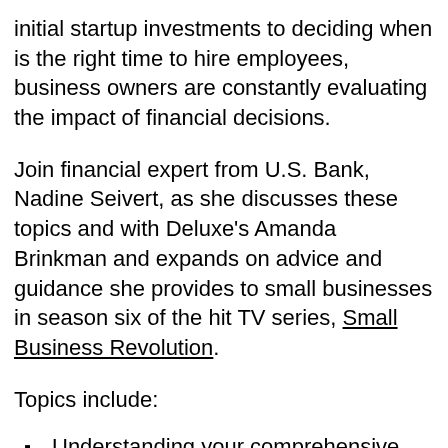initial startup investments to deciding when is the right time to hire employees, business owners are constantly evaluating the impact of financial decisions.
Join financial expert from U.S. Bank, Nadine Seivert, as she discusses these topics and with Deluxe's Amanda Brinkman and expands on advice and guidance she provides to small businesses in season six of the hit TV series, Small Business Revolution.
Topics include:
Understanding your comprehensive business costs
Understanding the difference between variable